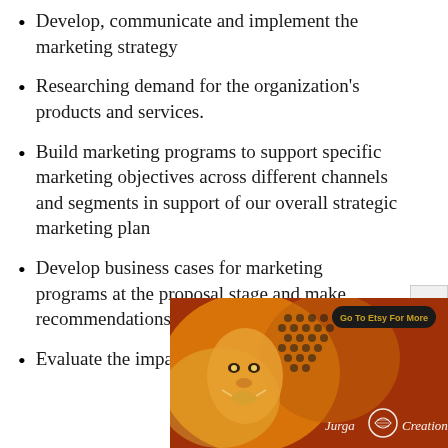Develop, communicate and implement the marketing strategy
Researching demand for the organization's products and services.
Build marketing programs to support specific marketing objectives across different channels and segments in support of our overall strategic marketing plan
Develop business cases for marketing programs at the proposal stage and make recommendations on marketing tactics
Evaluate the impact of marketing programs in
[Figure (illustration): Jurga Creations advertisement banner showing a colorful artistic painting of a face with honeycomb patterns and warm orange/gold tones, with 'Go To Etsy For More' button and Jurga Creations branding with logo]